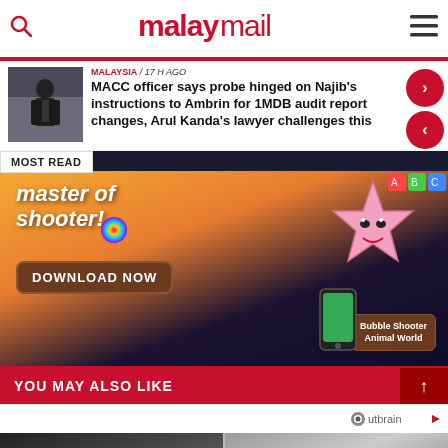malaymail
MALAYSIA / 17 h ago
MACC officer says probe hinged on Najib's instructions to Ambrin for 1MDB audit report changes, Arul Kanda's lawyer challenges this
MOST READ
[Figure (photo): Advertisement banner for Bubble Shooter Animal World game showing 'master of shooter!' text and Download Now button]
YOU MAY ALSO LIKE
[Figure (photo): Outbrain sponsored content logo]
[Figure (photo): Bottom thumbnail images strip]